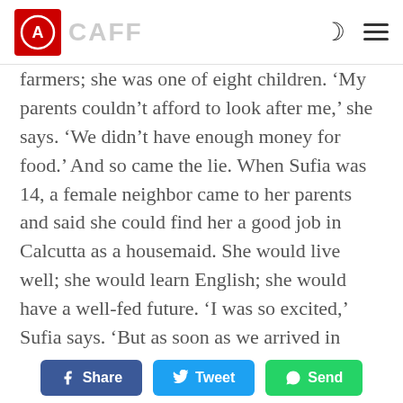CAFF [logo and navigation]
farmers; she was one of eight children. ‘My parents couldn’t afford to look after me,’ she says. ‘We didn’t have enough money for food.’ And so came the lie. When Sufia was 14, a female neighbor came to her parents and said she could find her a good job in Calcutta as a housemaid. She would live well; she would learn English; she would have a well-fed future. ‘I was so excited,’ Sufia says. ‘But as soon as we arrived in Calcutta I knew something was wrong,’ she says. ‘I didn’t know what a brothel was, but I could see the house she took me to was a bad house, where the
Share | Tweet | Send